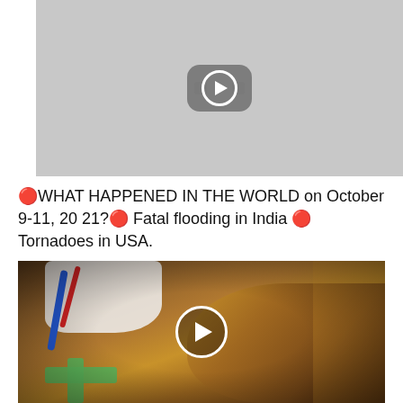[Figure (screenshot): Video thumbnail showing a YouTube-style play button icon on a gray background]
🔴WHAT HAPPENED IN THE WORLD on October 9-11, 2021?🔴 Fatal flooding in India 🔴 Tornadoes in USA.
[Figure (photo): Photo of a dog lying on a veterinary table with green bandages, medical tubes, and a white cloth covering part of it, with a play button overlay indicating a video]